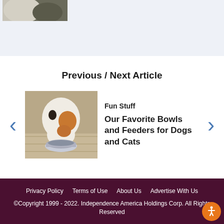[Figure (photo): Partial cat photo cropped at top of page, gray/white cat]
Previous / Next Article
[Figure (photo): Cat eating from a metal bowl on a wooden floor]
Fun Stuff
Our Favorite Bowls and Feeders for Dogs and Cats
Privacy Policy   Terms of Use   About Us   Advertise With Us
©Copyright 1999 - 2022. Independence America Holdings Corp. All Rights Reserved